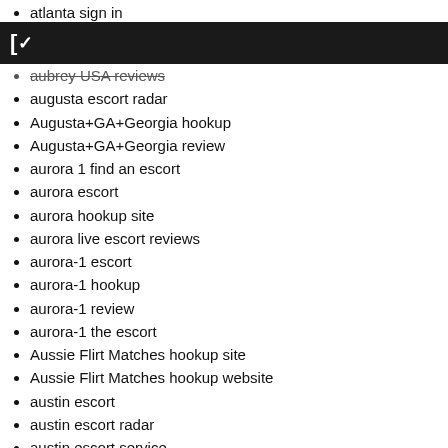atlanta sign in
atlanta dating review
C~
aubrey USA reviews
augusta escort radar
Augusta+GA+Georgia hookup
Augusta+GA+Georgia review
aurora 1 find an escort
aurora escort
aurora hookup site
aurora live escort reviews
aurora-1 escort
aurora-1 hookup
aurora-1 review
aurora-1 the escort
Aussie Flirt Matches hookup site
Aussie Flirt Matches hookup website
austin escort
austin escort radar
austin escort service
austin escort sites
austin sign in
austin USA mobile site
austin USA review
Austin+TX+Texas review
austin+TX+Texas review